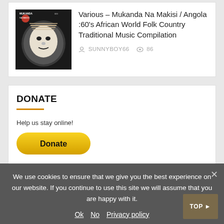[Figure (illustration): Album cover for Mukanda Na Makisi showing a traditional African mask in circular form on dark background with text MUKANDA NA MAKISI]
Various – Mukanda Na Makisi / Angola :60's African World Folk Country Traditional Music Compilation
SUNNYBOY66   86
DONATE
Help us stay online!
[Figure (other): PayPal Donate button, yellow/gold rounded button]
We use cookies to ensure that we give you the best experience on our website. If you continue to use this site we will assume that you are happy with it.
Ok   No   Privacy policy